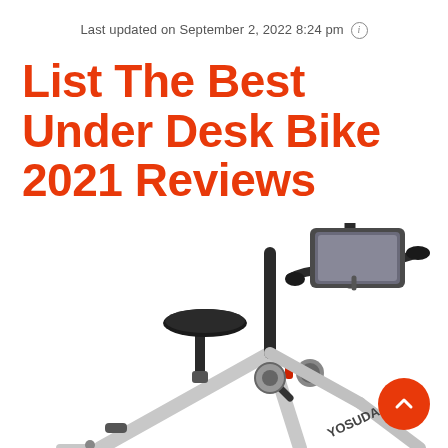Last updated on September 2, 2022 8:24 pm ℹ
List The Best Under Desk Bike 2021 Reviews
[Figure (photo): Photo of a stationary exercise/desk bike (YOSUDA brand), showing the seat, handlebars with tablet holder, and frame. Partially cropped, showing upper portion of the bike against a white background.]